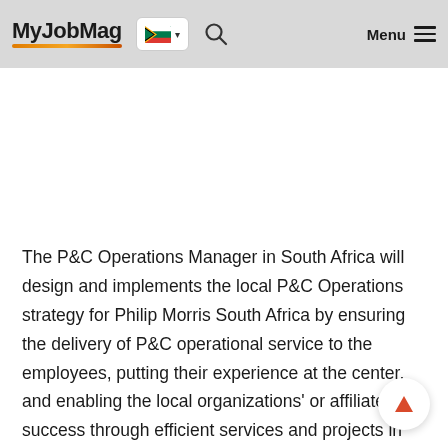MyJobMag [South Africa flag] [Search] Menu
The P&C Operations Manager in South Africa will design and implements the local P&C Operations strategy for Philip Morris South Africa by ensuring the delivery of P&C operational service to the employees, putting their experience at the center, and enabling the local organizations' or affiliate's success through efficient services and projects in coordination with local, regional and global teams.